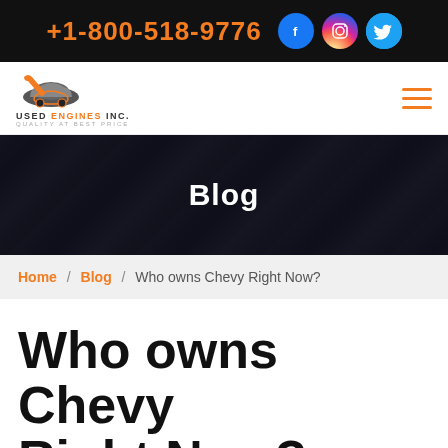+1-800-518-9776
[Figure (logo): Used Engines Inc. logo with wrench and car silhouette, orange and dark grey. Tagline: QUALITY AT BEST PRICE]
Blog
Home / Blog / Who owns Chevy Right Now?
Who owns Chevy Right Now?